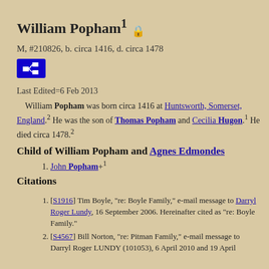William Popham¹ 🔒
M, #210826, b. circa 1416, d. circa 1478
[Figure (other): Blue pedigree chart button icon]
Last Edited=6 Feb 2013
William Popham was born circa 1416 at Huntsworth, Somerset, England.² He was the son of Thomas Popham and Cecilia Hugon.¹ He died circa 1478.²
Child of William Popham and Agnes Edmondes
John Popham+¹
Citations
[S1916] Tim Boyle, "re: Boyle Family," e-mail message to Darryl Roger Lundy, 16 September 2006. Hereinafter cited as "re: Boyle Family."
[S4567] Bill Norton, "re: Pitman Family," e-mail message to Darryl Roger LUNDY (101053), 6 April 2010 and 19 April